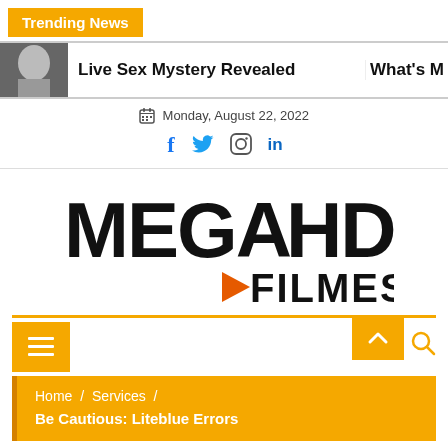Trending News
Live Sex Mystery Revealed   What's M
Monday, August 22, 2022
[Figure (logo): MEGAHD FILMES logo with orange play button triangle]
Home / Services / Be Cautious: Liteblue Errors